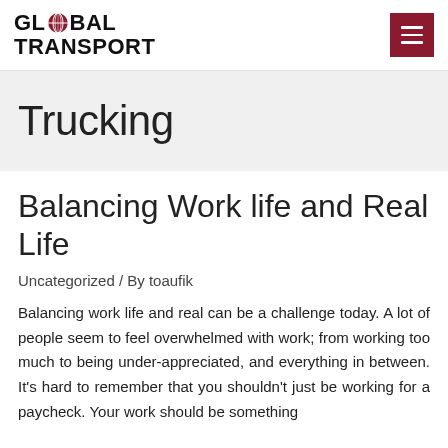GLOBAL TRANSPORT
Trucking
Balancing Work life and Real Life
Uncategorized / By toaufik
Balancing work life and real can be a challenge today. A lot of people seem to feel overwhelmed with work; from working too much to being under-appreciated, and everything in between. It's hard to remember that you shouldn't just be working for a paycheck. Your work should be something